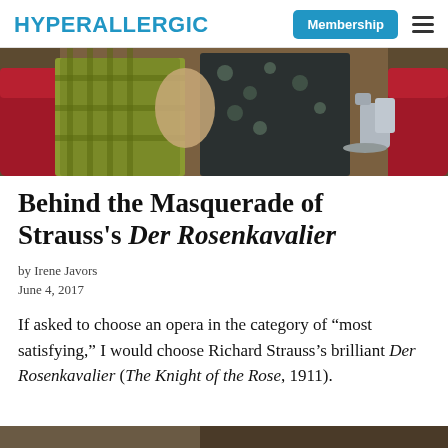HYPERALLERGIC | Membership
[Figure (photo): A scene from the opera Der Rosenkavalier showing performers in ornate period costumes with red chairs and a silver tea service visible]
Behind the Masquerade of Strauss's Der Rosenkavalier
by Irene Javors
June 4, 2017
If asked to choose an opera in the category of “most satisfying,” I would choose Richard Strauss’s brilliant Der Rosenkavalier (The Knight of the Rose, 1911).